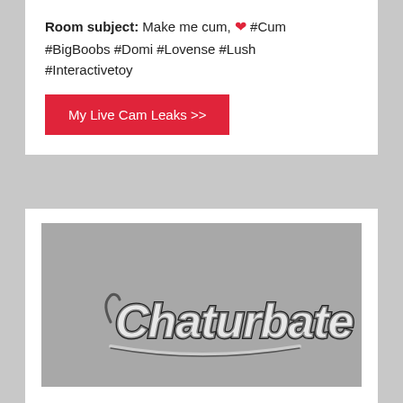Room subject: Make me cum, ❤ #Cum #BigBoobs #Domi #Lovense #Lush #Interactivetoy
My Live Cam Leaks >>
[Figure (screenshot): Gray placeholder image with Chaturbate logo watermark centered]